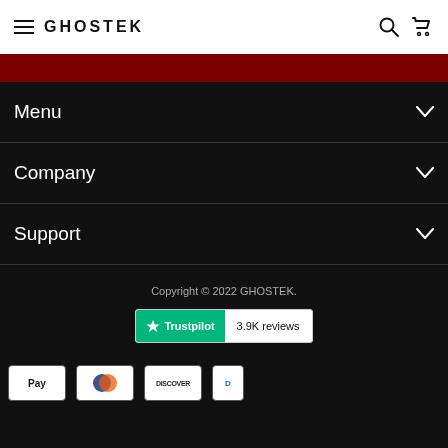GHOSTEK
[Figure (other): Dark red/maroon banner bar]
Menu
Company
Support
Copyright © 2022 GHOSTEK.
[Figure (logo): Trustpilot badge showing 3.9K reviews]
[Figure (other): Payment method icons: Pay, Diners Club, Discover, and partial fourth icon]